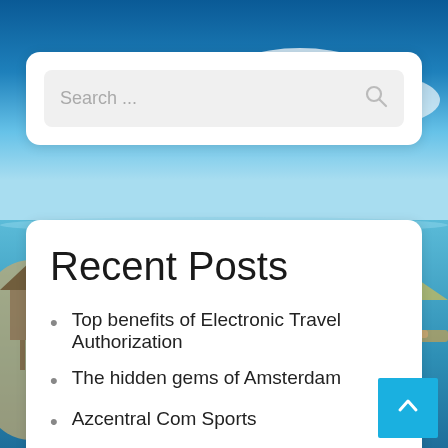[Figure (photo): Beach and tropical water background with blue sky, clouds, overwater bungalows on the left, and a person relaxing on a lounger on the right]
Search ...
Recent Posts
Top benefits of Electronic Travel Authorization
The hidden gems of Amsterdam
Azcentral Com Sports
Pet City Houston
The Best Home Decor And Residential